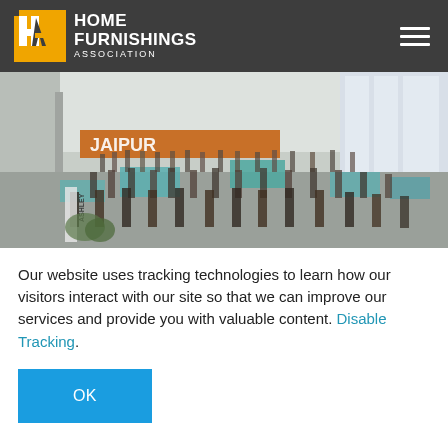[Figure (logo): Home Furnishings Association logo with yellow/gold HA icon and white text on dark grey header background]
[Figure (photo): Aerial view of a large indoor convention or trade show with crowds of people, vendor booths with teal tablecloths, and a banner reading JAIPUR, in a bright building with large windows]
Our website uses tracking technologies to learn how our visitors interact with our site so that we can improve our services and provide you with valuable content. Disable Tracking.